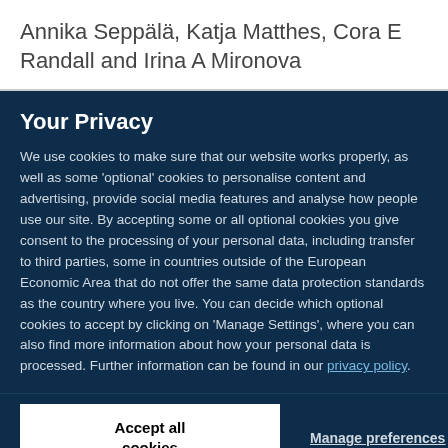Annika Seppälä, Katja Matthes, Cora E Randall and Irina A Mironova
Your Privacy
We use cookies to make sure that our website works properly, as well as some 'optional' cookies to personalise content and advertising, provide social media features and analyse how people use our site. By accepting some or all optional cookies you give consent to the processing of your personal data, including transfer to third parties, some in countries outside of the European Economic Area that do not offer the same data protection standards as the country where you live. You can decide which optional cookies to accept by clicking on 'Manage Settings', where you can also find more information about how your personal data is processed. Further information can be found in our privacy policy.
Accept all cookies
Manage preferences